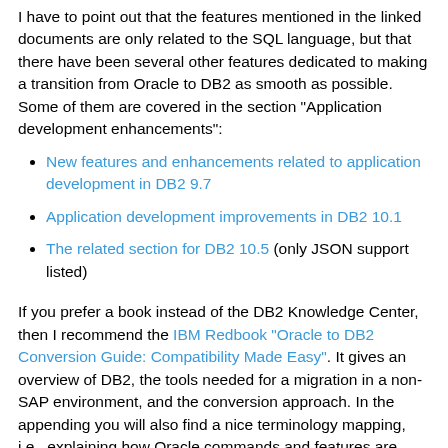I have to point out that the features mentioned in the linked documents are only related to the SQL language, but that there have been several other features dedicated to making a transition from Oracle to DB2 as smooth as possible. Some of them are covered in the section "Application development enhancements":
New features and enhancements related to application development in DB2 9.7
Application development improvements in DB2 10.1
The related section for DB2 10.5 (only JSON support listed)
If you prefer a book instead of the DB2 Knowledge Center, then I recommend the IBM Redbook "Oracle to DB2 Conversion Guide: Compatibility Made Easy". It gives an overview of DB2, the tools needed for a migration in a non-SAP environment, and the conversion approach. In the appending you will also find a nice terminology mapping, i.e., explaining how Oracle commands and features are named in the world of DB2.